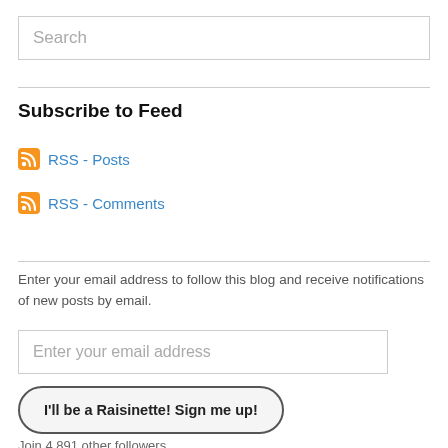Search
Subscribe to Feed
RSS - Posts
RSS - Comments
Enter your email address to follow this blog and receive notifications of new posts by email.
Enter your email address
I'll be a Raisinette! Sign me up!
Join 4,891 other followers